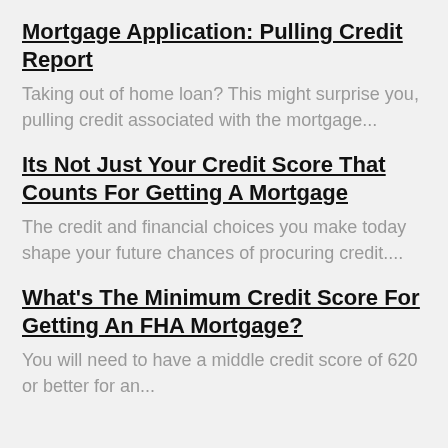Mortgage Application: Pulling Credit Report
Taking out of home loan? This might surprise you, pulling credit associated with the mortgage...
Its Not Just Your Credit Score That Counts For Getting A Mortgage
The credit and financial choices you make today shape your future chances of procuring credit....
What's The Minimum Credit Score For Getting An FHA Mortgage?
You will need to have a middle credit score of 620 or better for an...